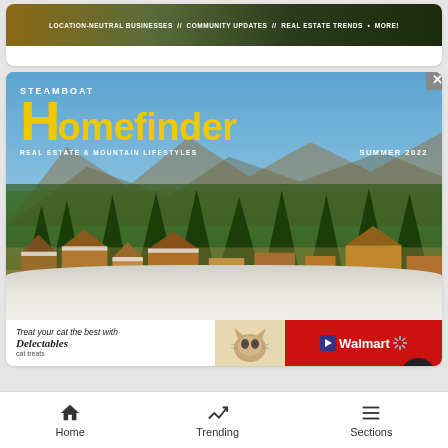[Figure (photo): Top banner showing location-neutral businesses, community updates, real estate trends text on a dark outdoor/landscape background]
[Figure (illustration): Magazine cover: Steamboat Homefinder - Real Estate & Mountain Lifestyles, Summer 2022, showing snowy mountain town with buildings and evergreen trees]
[Figure (photo): Advertisement banner: Treat your cat the best with Delectables cat treats - Walmart, with cat image on red and white background]
Home   Trending   Sections